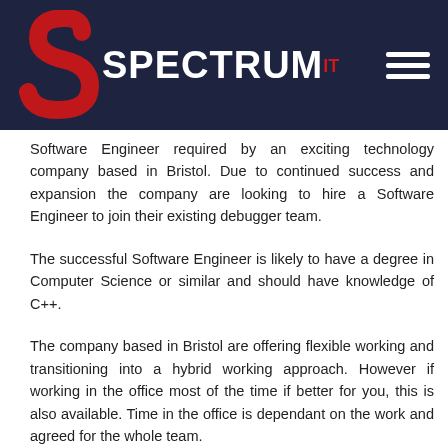[Figure (logo): Spectrum IT logo: red stylized S letter on left, white bold SPECTRUM text with red superscript IT on dark navy background, hamburger menu icon on right]
Software Engineer required by an exciting technology company based in Bristol. Due to continued success and expansion the company are looking to hire a Software Engineer to join their existing debugger team.
The successful Software Engineer is likely to have a degree in Computer Science or similar and should have knowledge of C++.
The company based in Bristol are offering flexible working and transitioning into a hybrid working approach. However if working in the office most of the time if better for you, this is also available. Time in the office is dependant on the work and agreed for the whole team.